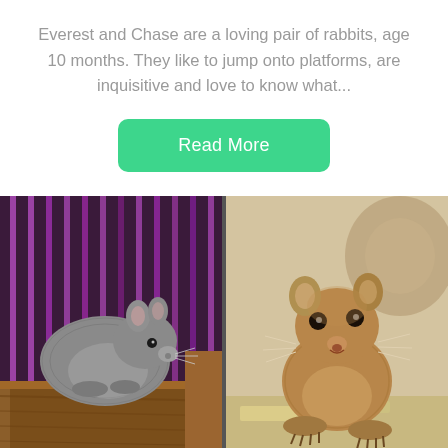Everest and Chase are a loving pair of rabbits, age 10 months. They like to jump onto platforms, are inquisitive and love to know what...
[Figure (other): Button labeled 'Read More' with green rounded rectangle background]
[Figure (photo): Two side-by-side photos of small rodents (chinchilla/degu type animals). Left photo shows a grey chinchilla on a wooden platform inside a cage with purple background. Right photo shows a brown degu facing the camera close-up.]